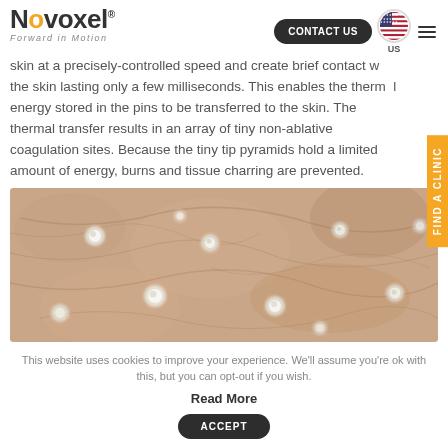Novoxel – Forward in Motion
skin at a precisely-controlled speed and create brief contact with the skin lasting only a few milliseconds. This enables the thermal energy stored in the pins to be transferred to the skin. The thermal transfer results in an array of tiny non-ablative coagulation sites. Because the tiny tip pyramids hold a limited amount of energy, burns and tissue charring are prevented.
[Figure (photo): Microscopic close-up image of skin showing small white coagulation sites (dots) scattered across the skin surface after thermal treatment, on a pinkish-beige skin background.]
This website uses cookies to improve your experience. We'll assume you're ok with this, but you can opt-out if you wish.
Read More
ACCEPT